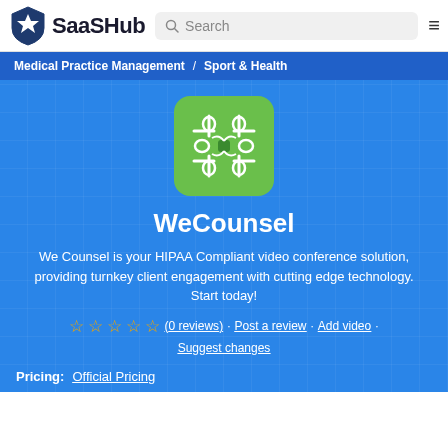SaaSHub | Search
Medical Practice Management / Sport & Health
[Figure (logo): WeCounsel app logo: green rounded square with white decorative floral/snowflake pattern]
WeCounsel
We Counsel is your HIPAA Compliant video conference solution, providing turnkey client engagement with cutting edge technology. Start today!
☆☆☆☆☆ (0 reviews) · Post a review · Add video · Suggest changes
Pricing: Official Pricing